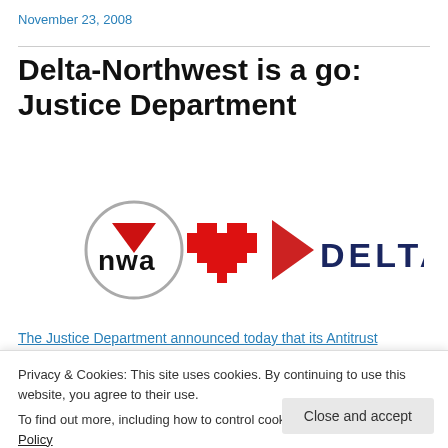November 23, 2008
Delta-Northwest is a go: Justice Department
[Figure (logo): NWA (Northwest Airlines) logo inside a grey circle with a red downward arrow, a red pixel-art heart, and DELTA logo with red triangle and dark blue text]
The Justice Department announced today that its Antitrust
Privacy & Cookies: This site uses cookies. By continuing to use this website, you agree to their use.
To find out more, including how to control cookies, see here: Cookie Policy